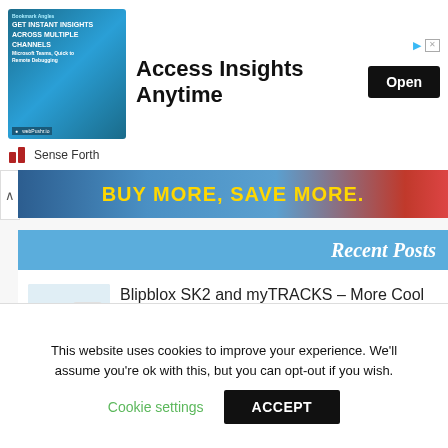[Figure (screenshot): Advertisement banner: image of woman with text 'GET INSTANT INSIGHTS ACROSS MULTIPLE CHANNELS' on left, 'Access Insights Anytime' headline and 'Open' button on right, with play and close icons]
Sense Forth
[Figure (screenshot): Promotional banner with dark blue to red gradient background reading 'BUY MORE, SAVE MORE.' in gold text, with a chevron/up arrow button on the left]
Recent Posts
[Figure (photo): Thumbnail image of Blipblox SK2 and myTRACKS sound toys - colorful electronic music toys for kids]
Blipblox SK2 and myTRACKS – More Cool Sound 'Toys' For The Cool Kids
This website uses cookies to improve your experience. We'll assume you're ok with this, but you can opt-out if you wish.
Cookie settings
ACCEPT